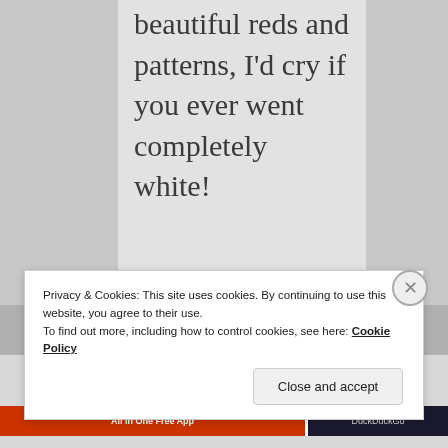beautiful reds and patterns, I'd cry if you ever went completely white!
Privacy & Cookies: This site uses cookies. By continuing to use this website, you agree to their use. To find out more, including how to control cookies, see here: Cookie Policy
Close and accept
All in One Free App
DuckDuckGo